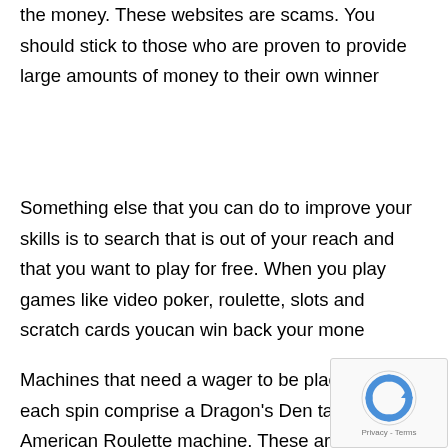the money. These websites are scams. You should stick to those who are proven to provide large amounts of money to their own winner
Something else that you can do to improve your skills is to search that is out of your reach and that you want to play for free. When you play games like video poker, roulette, slots and scratch cards youcan win back your mone
Machines that need a wager to be placed on each spin comprise a Dragon's Den table and an American Roulette machine. These are but there are other machines which
[Figure (other): reCAPTCHA logo with Privacy - Terms text]